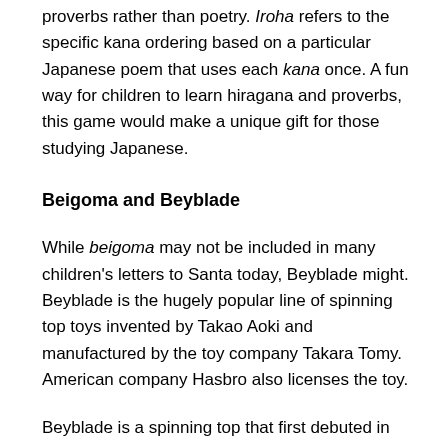proverbs rather than poetry. Iroha refers to the specific kana ordering based on a particular Japanese poem that uses each kana once. A fun way for children to learn hiragana and proverbs, this game would make a unique gift for those studying Japanese.
Beigoma and Beyblade
While beigoma may not be included in many children's letters to Santa today, Beyblade might. Beyblade is the hugely popular line of spinning top toys invented by Takao Aoki and manufactured by the toy company Takara Tomy. American company Hasbro also licenses the toy.
Beyblade is a spinning top that first debuted in 1999 in Japan. It even has an animated series that was created to go along with the trendy toy. Popular throughout many countries globally, Beyblade owes its creation to a more traditional